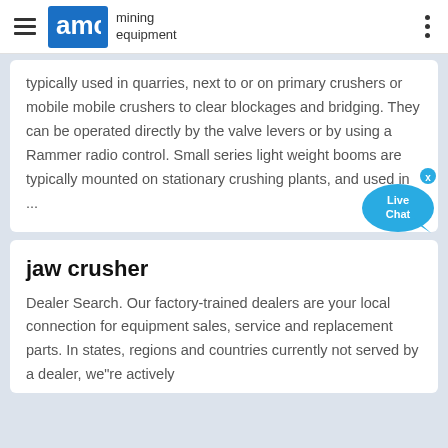AMC mining equipment
typically used in quarries, next to or on primary crushers or mobile mobile crushers to clear blockages and bridging. They can be operated directly by the valve levers or by using a Rammer radio control. Small series light weight booms are typically mounted on stationary crushing plants, and used in ...
jaw crusher
Dealer Search. Our factory-trained dealers are your local connection for equipment sales, service and replacement parts. In states, regions and countries currently not served by a dealer, we"re actively